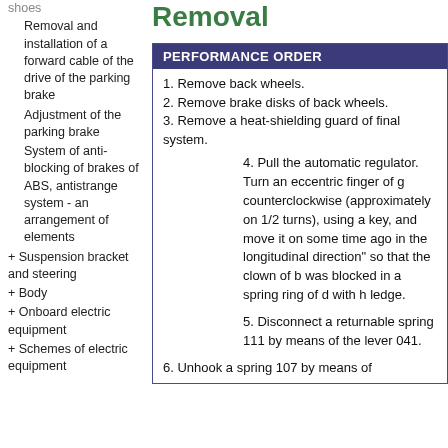shoes
Removal and installation of a forward cable of the drive of the parking brake
Adjustment of the parking brake
System of anti-blocking of brakes of ABS, antistrange system - an arrangement of elements
+ Suspension bracket and steering
+ Body
+ Onboard electric equipment
+ Schemes of electric equipment
Removal
PERFORMANCE ORDER
1. Remove back wheels.
2. Remove brake disks of back wheels.
3. Remove a heat-shielding guard of final system.
4. Pull the automatic regulator. Turn an eccentric finger of g counterclockwise (approximately on 1/2 turns), using a key, and move it on some time ago in the longitudinal direction" so that the clown of b was blocked in a spring ring of d with h ledge.
5. Disconnect a returnable spring 111 by means of the lever 041.
6. Unhook a spring 107 by means of